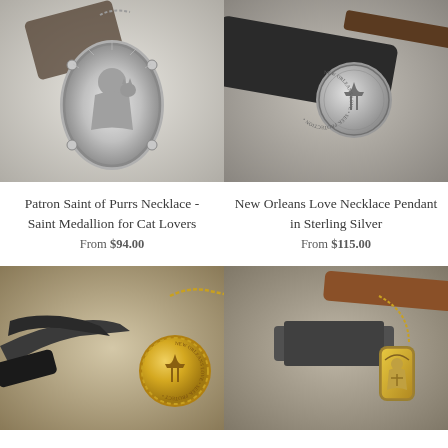[Figure (photo): Silver saint medallion necklace with figure holding cat, ornate oval frame, chain, displayed against dark background]
[Figure (photo): Circular silver pendant/coin with fleur-de-lis design and text, resting on hammer head]
Patron Saint of Purrs Necklace - Saint Medallion for Cat Lovers
From $94.00
New Orleans Love Necklace Pendant in Sterling Silver
From $115.00
[Figure (photo): Gold coin pendant with fleur-de-lis and text around edge on gold chain, held by pliers]
[Figure (photo): Rectangular gold pendant with saint figure in arched frame on gold chain, next to hammer]